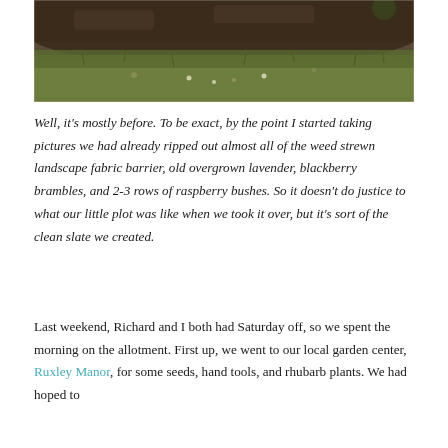[Figure (photo): Outdoor garden/allotment scene showing a patch of earth with dark soil mounded up in the background and green grass and small plants in the foreground.]
Well, it's mostly before. To be exact, by the point I started taking pictures we had already ripped out almost all of the weed strewn landscape fabric barrier, old overgrown lavender, blackberry brambles, and 2-3 rows of raspberry bushes. So it doesn't do justice to what our little plot was like when we took it over, but it's sort of the clean slate we created.
Last weekend, Richard and I both had Saturday off, so we spent the morning on the allotment. First up, we went to our local garden center, Ruxley Manor, for some seeds, hand tools, and rhubarb plants. We had hoped to